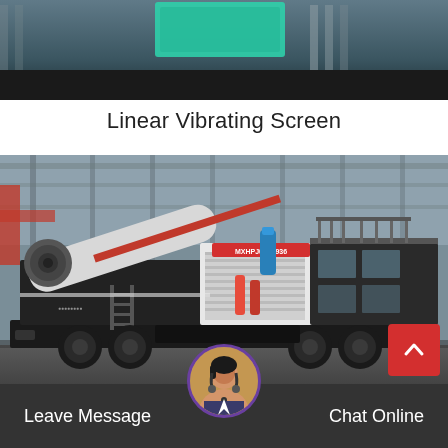[Figure (photo): Top partial photo of industrial equipment, dark background with teal/green colored component visible]
Linear Vibrating Screen
[Figure (photo): Large mobile crushing/screening plant on a trailer inside an industrial warehouse. The machine is primarily black and white with red accents, featuring a large conveyor/crusher unit mounted on a heavy-duty trailer with dual-axle wheels. A red label reading MXHPJ00S1936 is visible on the machine. The background shows a large industrial building with steel framework.]
Leave Message
Chat Online